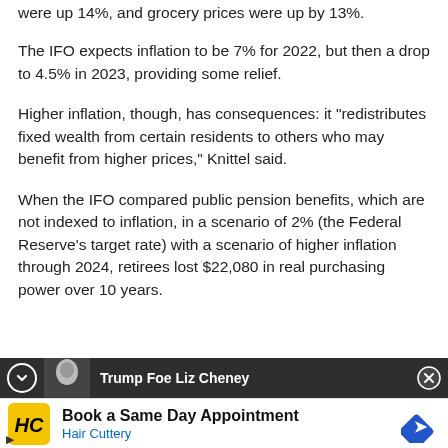were up 14%, and grocery prices were up by 13%.
The IFO expects inflation to be 7% for 2022, but then a drop to 4.5% in 2023, providing some relief.
Higher inflation, though, has consequences: it “redistributes fixed wealth from certain residents to others who may benefit from higher prices,” Knittel said.
When the IFO compared public pension benefits, which are not indexed to inflation, in a scenario of 2% (the Federal Reserve’s target rate) with a scenario of higher inflation through 2024, retirees lost $22,080 in real purchasing power over 10 years.
[Figure (screenshot): Notification bar showing thumbnail of a person with text 'Trump Foe Liz Cheney' and a close button]
[Figure (infographic): Advertisement banner for Hair Cuttery: 'Book a Same Day Appointment' with HC logo in yellow and a blue diamond navigation arrow icon]